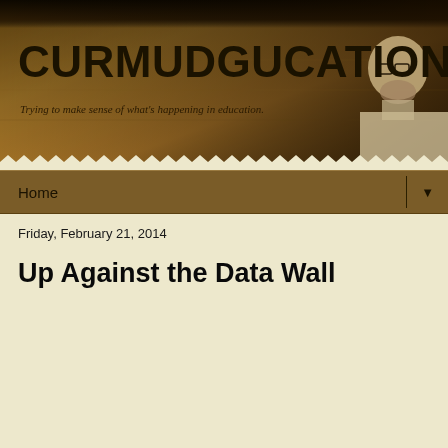[Figure (illustration): Blog header banner with dark brown/golden burlap-textured background and a black-and-white photo of a bearded man with glasses in the top right corner. Zigzag decorative border at the bottom of the banner.]
CURMUDGUCATION
Trying to make sense of what's happening in education.
Home ▼
Friday, February 21, 2014
Up Against the Data Wall